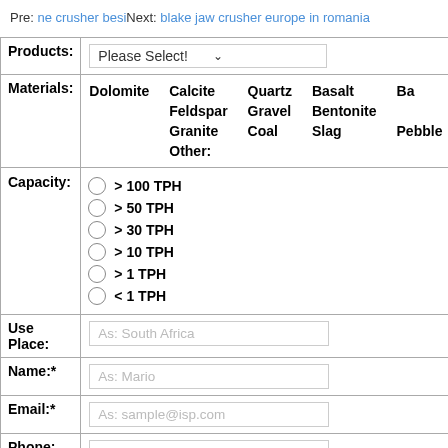Pre: ne crusher besi  Next: blake jaw crusher europe in romania
| Field | Value |
| --- | --- |
| Products: | Please Select! |
| Materials: | Dolomite | Calcite | Quartz | Basalt | Ba... | Feldspar | Gravel | Bentonite | Gypsum | Granite | Coal | Slag | Pebble | Other: |
| Capacity: | > 100 TPH | > 50 TPH | > 30 TPH | > 10 TPH | > 1 TPH | < 1 TPH |
| Use Place: | As: South Africa |
| Name:* | As: Mario |
| Email:* | As: sample@isp.com |
| Phone: | As: 0086-21-51860251 |